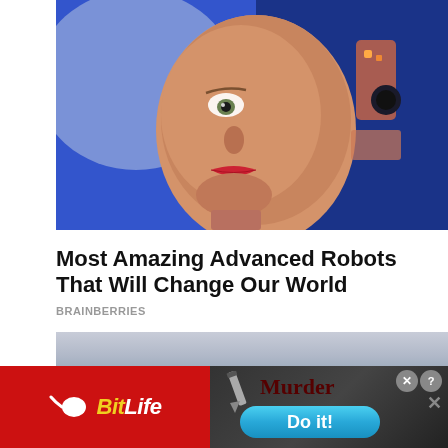[Figure (photo): Close-up photo of a humanoid robot face (Sophia robot) with realistic human-like skin, red lips, and mechanical parts visible at the back of the head, against a blue background]
Most Amazing Advanced Robots That Will Change Our World
BRAINBERRIES
[Figure (photo): Scenic ocean or sea view with small dark islands or rocks visible on the horizon, under a pale grey sky]
[Figure (infographic): Advertisement banner: left half is a red BitLife game ad with yellow italic logo and sperm icon; right half shows a dark game screenshot with 'Murder' text and 'Do it!' blue button, with close and help buttons]